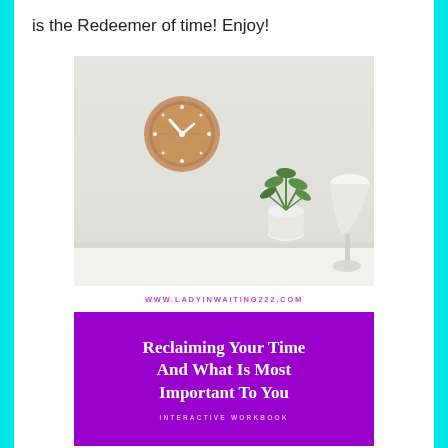is the Redeemer of time! Enjoy!
[Figure (photo): A minimalist room scene with a wooden clock on a light gray wall, a white lamp in the corner, and a small green plant in a white pot on a surface. Below the photo is a white strip with the website URL and a purple promotional banner.]
WWW.LADYINWAITING222.COM
Reclaiming Your Time And What Is Most Important To You
INTERACTIVE WORKBOOK